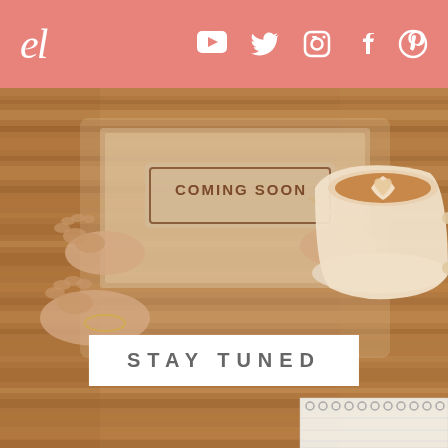el — social media header with YouTube, Twitter, Instagram, Facebook, Pinterest icons
[Figure (photo): Background photo of a wooden table with two hands holding a paper sign that reads 'COMING SOON', and a latte coffee cup with heart art on the right side, and a spiral notebook at the bottom right. Over the photo is a white box with text 'STAY TUNED'.]
STAY TUNED